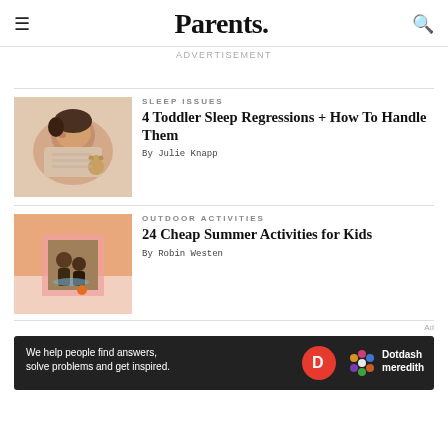Parents.
Advertisement
[Figure (photo): Sleeping toddler lying on white bedding, holding a small stuffed toy bear]
SLEEP ISSUES
4 Toddler Sleep Regressions + How To Handle Them
By Julie Knapp
[Figure (photo): Two children playing outdoors near water, orange/peach background with pink geometric shapes]
OUTDOOR ACTIVITIES
24 Cheap Summer Activities for Kids
By Robin Westen
Ad
[Figure (illustration): Dotdash Meredith advertisement banner: 'We help people find answers, solve problems and get inspired.' with D logo and flower icon]